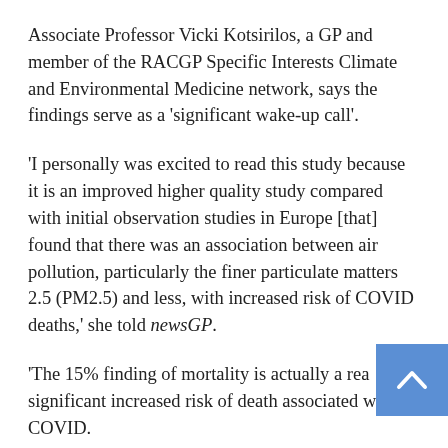Associate Professor Vicki Kotsirilos, a GP and member of the RACGP Specific Interests Climate and Environmental Medicine network, says the findings serve as a 'significant wake-up call'.
'I personally was excited to read this study because it is an improved higher quality study compared with initial observation studies in Europe [that] found that there was an association between air pollution, particularly the finer particulate matters 2.5 (PM2.5) and less, with increased risk of COVID deaths,' she told newsGP.
'The 15% finding of mortality is actually a rea[lly] significant increased risk of death associated w[ith] COVID.